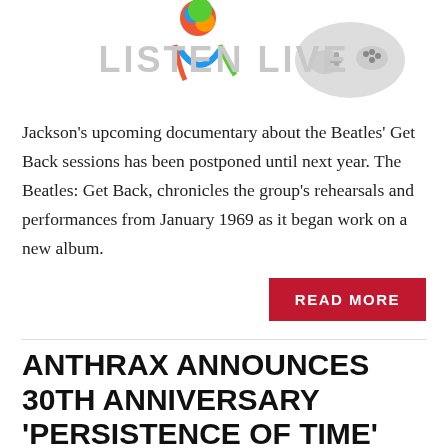[Figure (other): Listen Live banner with colorful illustrated figure and game controller graphic]
Jackson's upcoming documentary about the Beatles' Get Back sessions has been postponed until next year. The Beatles: Get Back, chronicles the group's rehearsals and performances from January 1969 as it began work on a new album.
READ MORE
ANTHRAX ANNOUNCES 30TH ANNIVERSARY 'PERSISTENCE OF TIME' DELUXE ALBUM
JUNE 12, 2020  ROCK DAYPOP
[Figure (photo): Photo of a bald man on stage with dark background]
Anthrax has